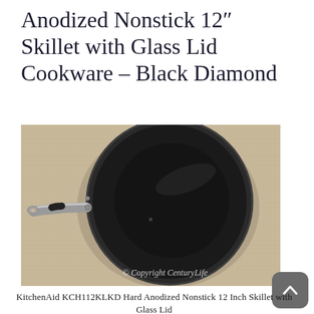Anodized Nonstick 12″ Skillet with Glass Lid Cookware – Black Diamond
[Figure (photo): Top-down view of a black hard-anodized nonstick 12-inch skillet with a silver and black handle, placed on a beige/tan textured surface. Watermark reads © Copyright CenturyLife.]
KitchenAid KCH112KLKD Hard Anodized Nonstick 12 Inch Skillet with Glass Lid